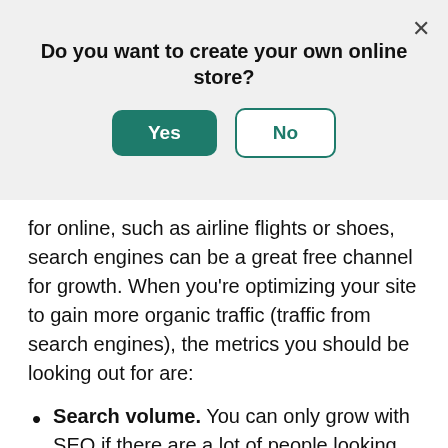[Figure (screenshot): Modal dialog with question 'Do you want to create your own online store?' and two buttons: 'Yes' (green filled) and 'No' (white with green border), plus a close X button.]
for online, such as airline flights or shoes, search engines can be a great free channel for growth. When you're optimizing your site to gain more organic traffic (traffic from search engines), the metrics you should be looking out for are:
Search volume. You can only grow with SEO if there are a lot of people looking for your product on search engines like Google or Bing. Understanding Keyword Planner is useful for learning if the keywords you want